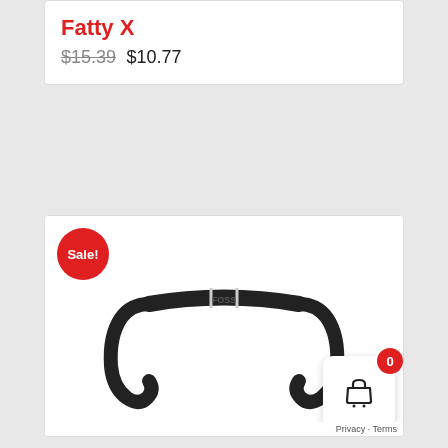Fatty X
$15.39 $10.77
[Figure (photo): Black drop handlebar for bicycle (Fatty X product) with a Sale! badge in red circle top left, and a red cart badge showing 0 items with shopping basket icon bottom right]
Privacy · Terms